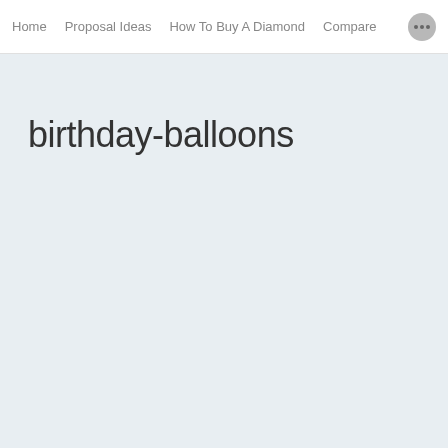Home | Proposal Ideas | How To Buy A Diamond | Compare
birthday-balloons